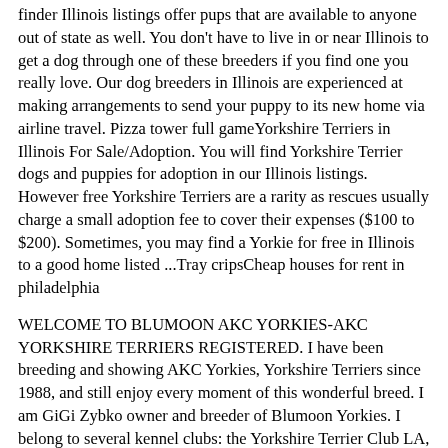(…continuing…) finder Illinois listings offer pups that are available to anyone out of state as well. You don't have to live in or near Illinois to get a dog through one of these breeders if you find one you really love. Our dog breeders in Illinois are experienced at making arrangements to send your puppy to its new home via airline travel. Pizza tower full gameYorkshire Terriers in Illinois For Sale/Adoption. You will find Yorkshire Terrier dogs and puppies for adoption in our Illinois listings. However free Yorkshire Terriers are a rarity as rescues usually charge a small adoption fee to cover their expenses ($100 to $200). Sometimes, you may find a Yorkie for free in Illinois to a good home listed ...Tray cripsCheap houses for rent in philadelphia
WELCOME TO BLUMOON AKC YORKIES-AKC YORKSHIRE TERRIERS REGISTERED. I have been breeding and showing AKC Yorkies, Yorkshire Terriers since 1988, and still enjoy every moment of this wonderful breed. I am GiGi Zybko owner and breeder of Blumoon Yorkies. I belong to several kennel clubs: the Yorkshire Terrier Club LA, Yorkshire Terrier club GKC ...2013 jeep grand cherokee problemsMission Statement. "To preserve and protect the Yorkshire Terrier breed, as recognized by the AKC. To provide education and encourage the breeding of true type, good health and sound temperament. To promote camaraderie and cooperation among members of the YTCA, always keeping in mind the purpose of the Club is the best interest of the Breed."Find the yin to your yang with PetMatch. Our PetMatch tool matches